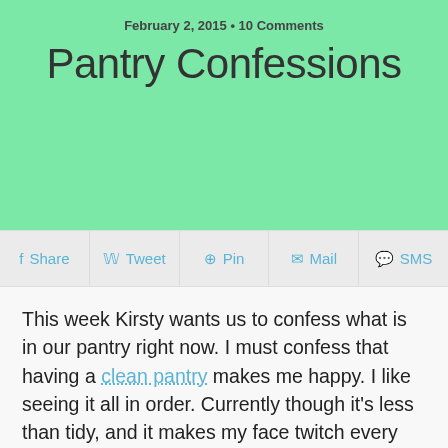February 2, 2015 • 10 Comments
Pantry Confessions
Share  Tweet  Pin  Mail  SMS
This week Kirsty wants us to confess what is in our pantry right now. I must confess that having a clean pantry makes me happy. I like seeing it all in order. Currently though it's less than tidy, and it makes my face twitch every time I open it.
I have spent a ridiculous amount on Tupperware though, and I do like that all of the stuff I use regularly is easy to find thanks to my modular mates.  I have containers for my flour, pasta and all of the basic stuff.  Having it all in